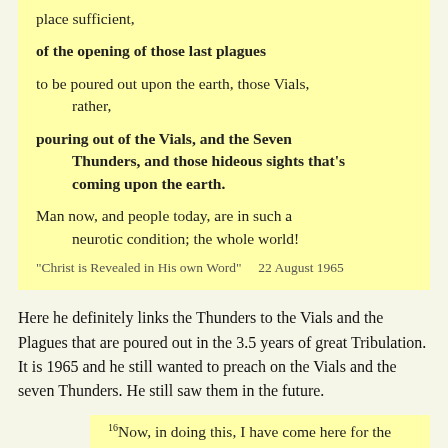place sufficient,
of the opening of those last plagues
to be poured out upon the earth, those Vials, rather,
pouring out of the Vials, and the Seven Thunders, and those hideous sights that's coming upon the earth.
Man now, and people today, are in such a neurotic condition; the whole world!
"Christ is Revealed in His own Word"    22 August 1965
Here he definitely links the Thunders to the Vials and the Plagues that are poured out in the 3.5 years of great Tribulation. It is 1965 and he still wanted to preach on the Vials and the seven Thunders. He still saw them in the future.
16Now, in doing this, I have come here for the